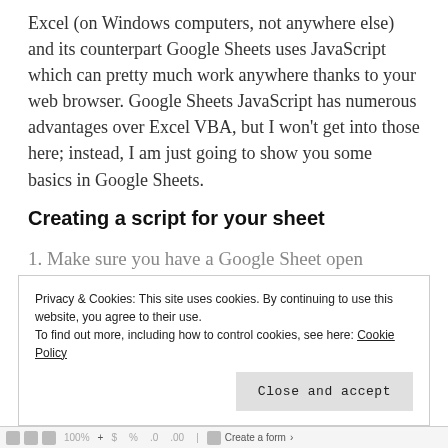Excel (on Windows computers, not anywhere else) and its counterpart Google Sheets uses JavaScript which can pretty much work anywhere thanks to your web browser. Google Sheets JavaScript has numerous advantages over Excel VBA, but I won't get into those here; instead, I am just going to show you some basics in Google Sheets.
Creating a script for your sheet
1. Make sure you have a Google Sheet open
Privacy & Cookies: This site uses cookies. By continuing to use this website, you agree to their use.
To find out more, including how to control cookies, see here: Cookie Policy
Close and accept
100% $ % .0 .00 | Create a form